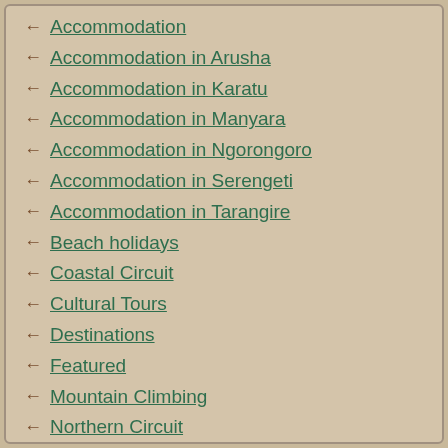← Accommodation
← Accommodation in Arusha
← Accommodation in Karatu
← Accommodation in Manyara
← Accommodation in Ngorongoro
← Accommodation in Serengeti
← Accommodation in Tarangire
← Beach holidays
← Coastal Circuit
← Cultural Tours
← Destinations
← Featured
← Mountain Climbing
← Northern Circuit
← Northern Circuit Accommodation
← Northern Circuit ...